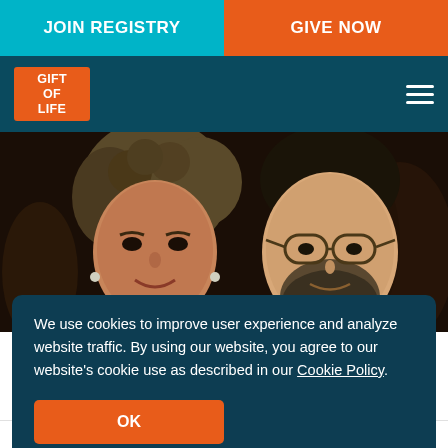JOIN REGISTRY | GIVE NOW
[Figure (logo): Gift of Life logo — orange rectangle with white text reading GIFT OF LIFE]
[Figure (photo): Photo of two people smiling: a woman with curly hair and a man wearing glasses, at what appears to be an event]
We use cookies to improve user experience and analyze website traffic. By using our website, you agree to our website's cookie use as described in our Cookie Policy.
OK
Jun 10, 2003 by Gift of Life   NEWS